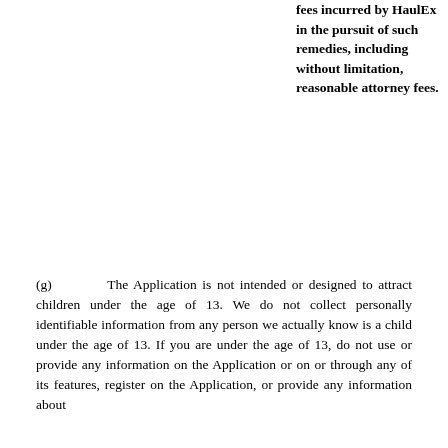fees incurred by HaulEx in the pursuit of such remedies, including without limitation, reasonable attorney fees.
(g) The Application is not intended or designed to attract children under the age of 13. We do not collect personally identifiable information from any person we actually know is a child under the age of 13. If you are under the age of 13, do not use or provide any information on the Application or on or through any of its features, register on the Application, or provide any information about